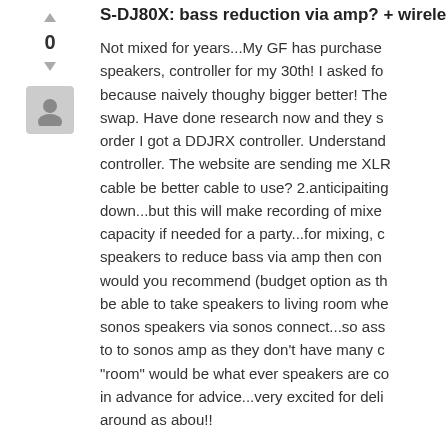S-DJ80X: bass reduction via amp? + wirele
Not mixed for years...My GF has purchased speakers, controller for my 30th! I asked fo because naively thoughy bigger better! The swap. Have done research now and they s order I got a DDJRX controller. Understand controller. The website are sending me XLR cable be better cable to use? 2.anticipaiting down...but this will make recording of mixe capacity if needed for a party...for mixing, c speakers to reduce bass via amp then con would you recommend (budget option as th be able to take speakers to living room whe sonos speakers via sonos connect...so ass to to sonos amp as they don't have many c "room" would be what ever speakers are c in advance for advice...very excited for deli around as abou!!